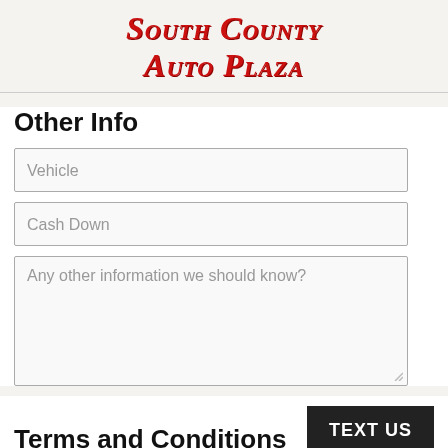South County Auto Plaza
Other Info
Vehicle
Cash Down
Any other information we should know?
Terms and Conditions
TEXT US